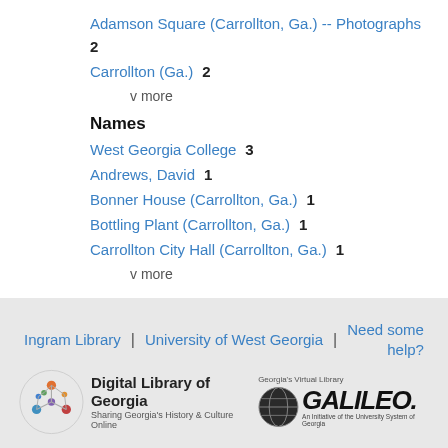Adamson Square (Carrollton, Ga.) -- Photographs  2
Carrollton (Ga.)  2
v more
Names
West Georgia College  3
Andrews, David  1
Bonner House (Carrollton, Ga.)  1
Bottling Plant (Carrollton, Ga.)  1
Carrollton City Hall (Carrollton, Ga.)  1
v more
Ingram Library | University of West Georgia | Need some help?
[Figure (logo): Digital Library of Georgia logo with network graph icon and text 'Digital Library of Georgia, Sharing Georgia's History & Culture Online']
[Figure (logo): Georgia's Virtual Library GALILEO logo with globe icon and text 'An Initiative of the University System of Georgia']